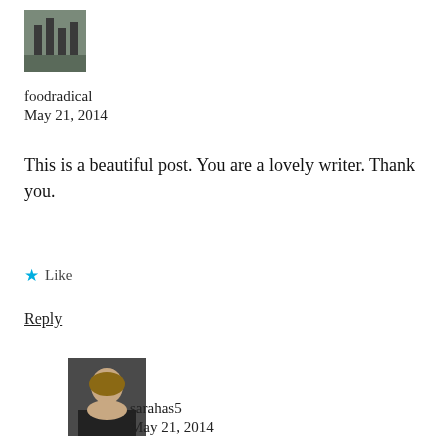[Figure (photo): Small avatar image of a building/architectural photo thumbnail]
foodradical
May 21, 2014
This is a beautiful post. You are a lovely writer. Thank you.
★ Like
Reply
[Figure (photo): Profile photo of a woman with glasses and dark clothing]
sarahas5
May 21, 2014